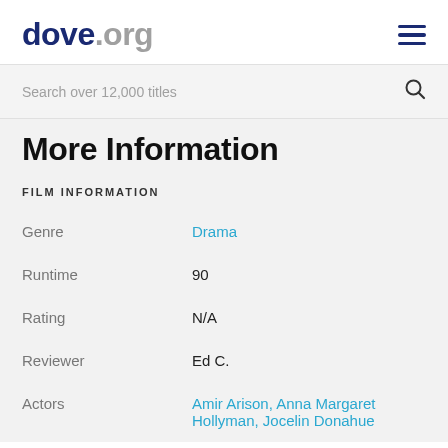dove.org
Search over 12,000 titles
More Information
FILM INFORMATION
| Field | Value |
| --- | --- |
| Genre | Drama |
| Runtime | 90 |
| Rating | N/A |
| Reviewer | Ed C. |
| Actors | Amir Arison, Anna Margaret Hollyman, Jocelin Donahue |